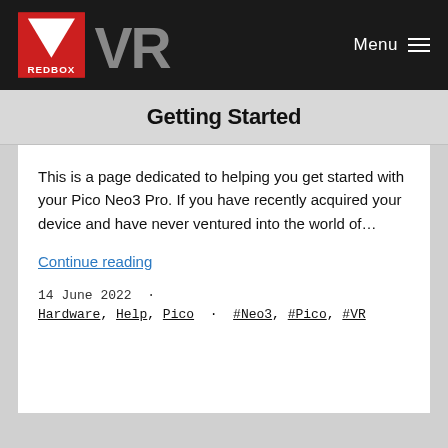[Figure (logo): Redbox VR logo — red square with REDBOX text and white V-arrow chevron, followed by large gray VR text, on dark background header with Menu navigation]
Getting Started
This is a page dedicated to helping you get started with your Pico Neo3 Pro. If you have recently acquired your device and have never ventured into the world of…
Continue reading
14 June 2022 ·
Hardware, Help, Pico · #Neo3, #Pico, #VR